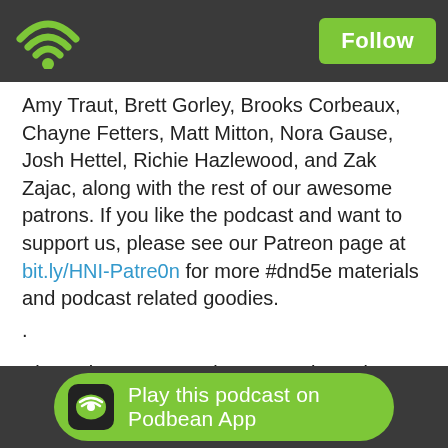[Podbean app header with WiFi logo and Follow button]
Amy Traut, Brett Gorley, Brooks Corbeaux, Chayne Fetters, Matt Mitton, Nora Gause, Josh Hettel, Richie Hazlewood, and Zak Zajac, along with the rest of our awesome patrons. If you like the podcast and want to support us, please see our Patreon page at bit.ly/HNI-Patre0n for more #dnd5e materials and podcast related goodies.
.
Please leave us a review on Apple Podcasts— bit.ly/HNI-Apple, Facebook— bit.ly/HNI-Facebook, or whatever app you use to listen! Reviews really do help us out, especially as we begin this new season! As an independent podcast, word of mouth is
Play this podcast on Podbean App